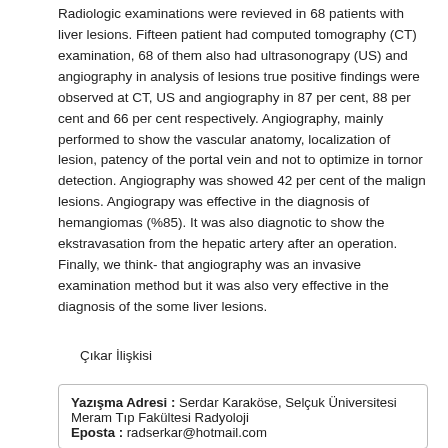Radiologic examinations were revieved in 68 patients with liver lesions. Fifteen patient had computed tomography (CT) examination, 68 of them also had ultrasonograpy (US) and angiography in analysis of lesions true positive findings were observed at CT, US and angiography in 87 per cent, 88 per cent and 66 per cent respectively. Angiography, mainly performed to show the vascular anatomy, localization of lesion, patency of the portal vein and not to optimize in tornor detection. Angiography was showed 42 per cent of the malign lesions. Angiograpy was effective in the diagnosis of hemangiomas (%85). It was also diagnotic to show the ekstravasation from the hepatic artery after an operation. Finally, we think- that angiography was an invasive examination method but it was also very effective in the diagnosis of the some liver lesions.
Çıkar İlişkisi
Yazışma Adresi : Serdar Karaköse, Selçuk Üniversitesi Meram Tıp Fakültesi Radyoloji
Eposta : radserkar@hotmail.com